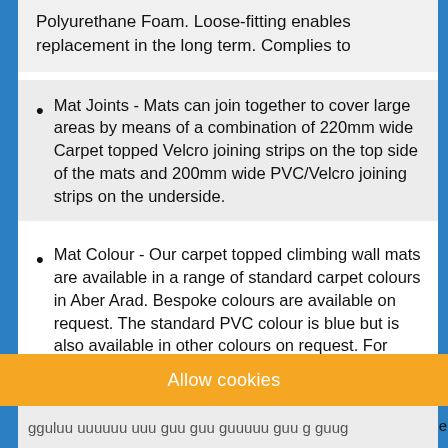Polyurethane Foam. Loose-fitting enables replacement in the long term. Complies to
Mat Joints - Mats can join together to cover large areas by means of a combination of 220mm wide Carpet topped Velcro joining strips on the top side of the mats and 200mm wide PVC/Velcro joining strips on the underside.
Mat Colour - Our carpet topped climbing wall mats are available in a range of standard carpet colours in Aber Arad. Bespoke colours are available on request. The standard PVC colour is blue but is also available in other colours on request. For more details regardin
Allow cookies